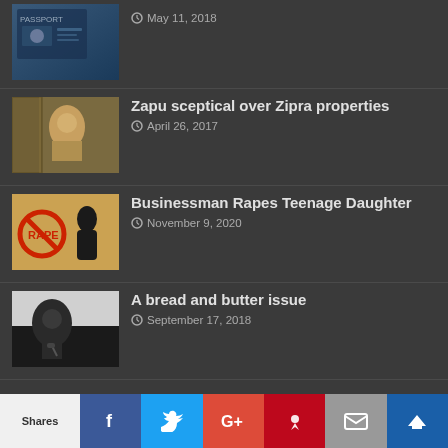[Figure (photo): Passport photo thumbnail]
May 11, 2018
[Figure (photo): Man in tan jacket thumbnail]
Zapu sceptical over Zipra properties
April 26, 2017
[Figure (photo): Anti-rape sign silhouette thumbnail]
Businessman Rapes Teenage Daughter
November 9, 2020
[Figure (photo): Man speaking at podium thumbnail]
A bread and butter issue
September 17, 2018
© Copyright 2022, Zimbabwe Today is not responsible for the content of external sites. All Rights Reserved